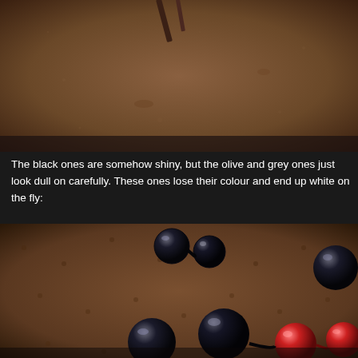[Figure (photo): Close-up photo of a brown/tan textured surface with what appears to be a small dark rod or stick object, with speckled droplets or marks on the surface.]
The black ones are somehow shiny, but the olive and grey ones just look dull on carefully. These ones lose their colour and end up white on the fly:
[Figure (photo): Close-up macro photo of shiny black beads and red beads arranged on a brown dimpled surface, showing their glossy reflective surfaces.]